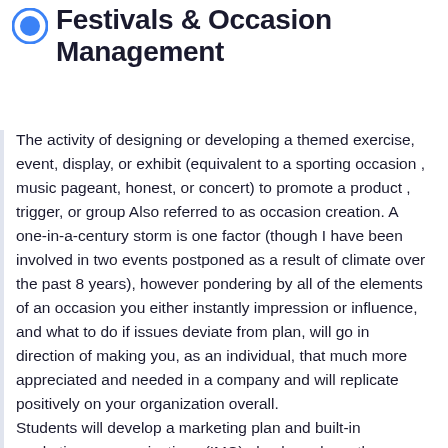Festivals & Occasion Management
The activity of designing or developing a themed exercise, event, display, or exhibit (equivalent to a sporting occasion , music pageant, honest, or concert) to promote a product , trigger, or group Also referred to as occasion creation. A one-in-a-century storm is one factor (though I have been involved in two events postponed as a result of climate over the past 8 years), however pondering by all of the elements of an occasion you either instantly impression or influence, and what to do if issues deviate from plan, will go in direction of making you, as an individual, that much more appreciated and needed in a company and will replicate positively on your organization overall.
Students will develop a marketing plan and built-in marketing communications (IMC) plan based mostly on